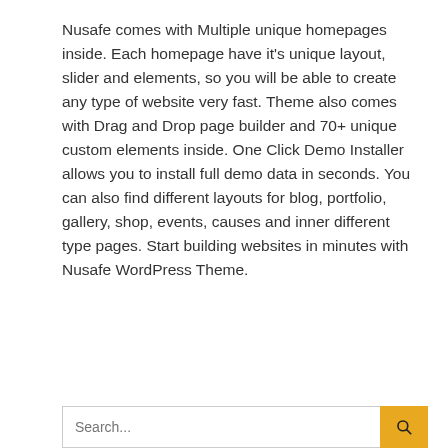Nusafe comes with Multiple unique homepages inside. Each homepage have it's unique layout, slider and elements, so you will be able to create any type of website very fast. Theme also comes with Drag and Drop page builder and 70+ unique custom elements inside. One Click Demo Installer allows you to install full demo data in seconds. You can also find different layouts for blog, portfolio, gallery, shop, events, causes and inner different type pages. Start building websites in minutes with Nusafe WordPress Theme.
(more...)
READ MORE »